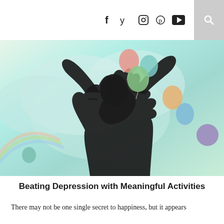f  y  [instagram]  [pinterest]  [youtube]  [search]
[Figure (photo): Silhouette of a person with arms raised against a dreamy teal and mint sky background with colorful balloons floating around them]
Beating Depression with Meaningful Activities
There may not be one single secret to happiness, but it appears